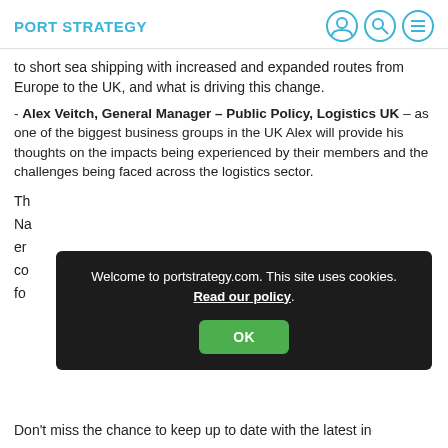PORT STRATEGY
to short sea shipping with increased and expanded routes from Europe to the UK, and what is driving this change.
- Alex Veitch, General Manager – Public Policy, Logistics UK – as one of the biggest business groups in the UK Alex will provide his thoughts on the impacts being experienced by their members and the challenges being faced across the logistics sector.
Th
Na
er
co
fo
[Figure (screenshot): Cookie consent popup overlay with dark background. Text reads: 'Welcome to portstrategy.com. This site uses cookies. Read our policy.' with an OK button.]
Don't miss the chance to keep up to date with the latest in